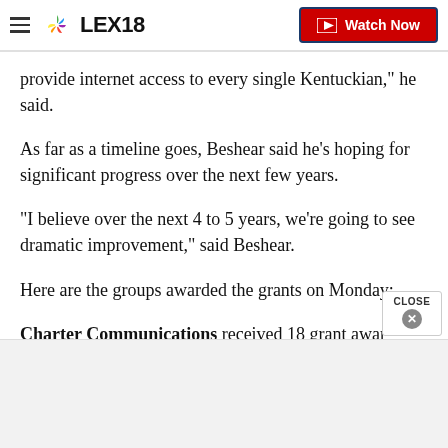LEX18 | Watch Now
provide internet access to every single Kentuckian," he said.
As far as a timeline goes, Beshear said he's hoping for significant progress over the next few years.
"I believe over the next 4 to 5 years, we're going to see dramatic improvement," said Beshear.
Here are the groups awarded the grants on Monday:
Charter Communications received 18 grant awards totaling $49,999,694. They...